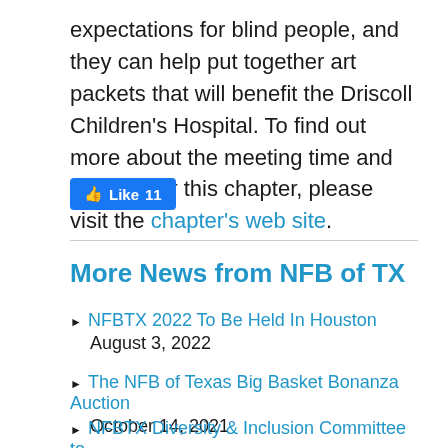expectations for blind people, and they can help put together art packets that will benefit the Driscoll Children's Hospital. To find out more about the meeting time and location for this chapter, please visit the chapter's web site.
[Figure (other): Facebook Like button showing 11 likes]
More News from NFB of TX
NFBTX 2022 To Be Held In Houston
August 3, 2022
The NFB of Texas Big Basket Bonanza Auction
October 14, 2021
NFBTX Diversity & Inclusion Committee to...